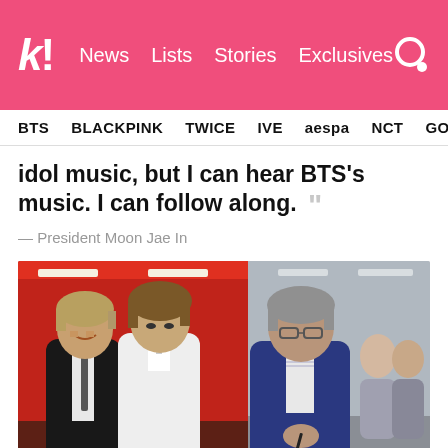k! News Lists Stories Exclusives
BTS BLACKPINK TWICE IVE aespa NCT GOT7
idol music, but I can hear BTS’s music. I can follow along.
— President Moon Jae In
[Figure (photo): Photo of BTS members and President Moon Jae In together at an event. Two young men in dark suits on the left (one smiling broadly), and an older man in a navy blue suit on the right, appearing to sign or look at something. Red walls in the background with other attendees visible.]